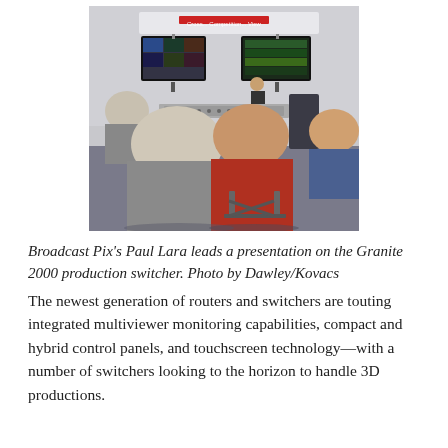[Figure (photo): A conference or trade show presentation scene. Several audience members are seated with their backs to the camera, watching a presenter standing at the front of a booth. Multiple large display monitors are mounted above, showing video content. The booth has signage reading 'Cross... Competition... View'. One audience member wears a red shirt and is seated in a folding chair.]
Broadcast Pix's Paul Lara leads a presentation on the Granite 2000 production switcher. Photo by Dawley/Kovacs
The newest generation of routers and switchers are touting integrated multiviewer monitoring capabilities, compact and hybrid control panels, and touchscreen technology—with a number of switchers looking to the horizon to handle 3D productions.